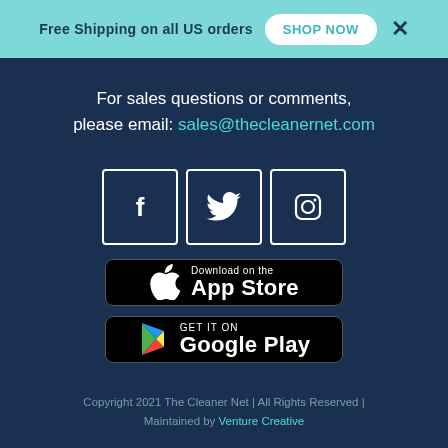Free Shipping on all US orders  SHOP NOW  X
For sales questions or comments, please email: sales@thecleanernet.com
[Figure (illustration): Social media icons: Facebook, Twitter, Instagram as white icons in square bordered boxes]
[Figure (illustration): Download on the App Store button (black, Apple logo)]
[Figure (illustration): Get it on Google Play button (black, Google Play triangle logo)]
Copyright 2021 The Cleaner Net | All Rights Reserved | Maintained by Venture Creative